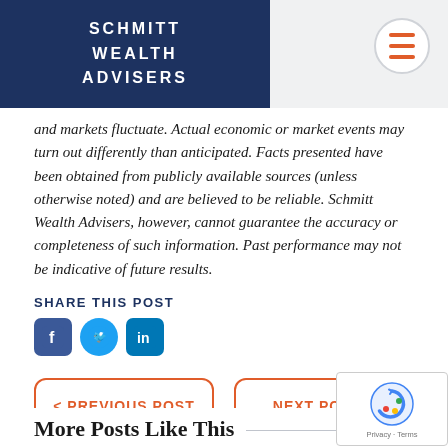SCHMITT WEALTH ADVISERS
and markets fluctuate. Actual economic or market events may turn out differently than anticipated.  Facts presented have been obtained from publicly available sources (unless otherwise noted) and are believed to be reliable. Schmitt Wealth Advisers, however, cannot guarantee the accuracy or completeness of such information.  Past performance may not be indicative of future results.
SHARE THIS POST
[Figure (illustration): Facebook, Twitter, and LinkedIn social media sharing icons]
[Figure (illustration): Navigation buttons: < PREVIOUS POST and NEXT POST >]
More Posts Like This